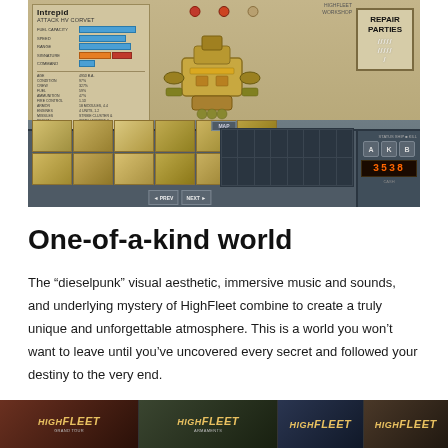[Figure (screenshot): HighFleet game screenshot showing a ship workshop/hangar view with an 'Intrepid' Attack HV Corvet ship in the center, stat panels on the left, a 'REPAIR PARTIES' sign on the upper right, and an inventory/parts bar at the bottom.]
One-of-a-kind world
The “dieselpunk” visual aesthetic, immersive music and sounds, and underlying mystery of HighFleet combine to create a truly unique and unforgettable atmosphere. This is a world you won’t want to leave until you’ve uncovered every secret and followed your destiny to the very end.
[Figure (screenshot): Strip of four HighFleet game screenshots or promotional images with the HighFleet logo overlaid on each, showing different scenes from the game.]